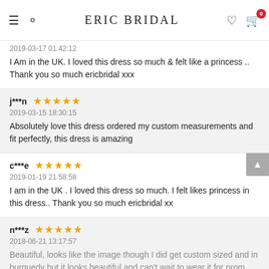ERIC BRIDAL
2019-03-17 01:42:12
I Am in the UK. I loved this dress so much & felt like a princess .. Thank you so much ericbridal xxx
j***n ★★★★★
2019-03-15 18:30:15
Absolutely love this dress ordered my custom measurements and fit perfectly, this dress is amazing
c***e ★★★★★
2019-01-19 21:58:58
I am in the UK . I loved this dress so much. I felt likes princess in this dress.. Thank you so much ericbridal xx
n***z ★★★★★
2018-06-21 13:17:57
Beautiful, looks like the image though I did get custom sized and in burguedy but it looks beautiful and can't wait to wear it for prom
j***e
We use cookies to provide you with the best possible experience. By continuing to use our site, you agree to our use of cookies.  Accept & Close X